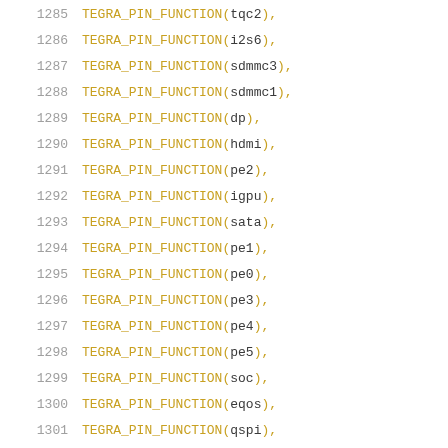1285    TEGRA_PIN_FUNCTION(tqc2),
1286    TEGRA_PIN_FUNCTION(i2s6),
1287    TEGRA_PIN_FUNCTION(sdmmc3),
1288    TEGRA_PIN_FUNCTION(sdmmc1),
1289    TEGRA_PIN_FUNCTION(dp),
1290    TEGRA_PIN_FUNCTION(hdmi),
1291    TEGRA_PIN_FUNCTION(pe2),
1292    TEGRA_PIN_FUNCTION(igpu),
1293    TEGRA_PIN_FUNCTION(sata),
1294    TEGRA_PIN_FUNCTION(pe1),
1295    TEGRA_PIN_FUNCTION(pe0),
1296    TEGRA_PIN_FUNCTION(pe3),
1297    TEGRA_PIN_FUNCTION(pe4),
1298    TEGRA_PIN_FUNCTION(pe5),
1299    TEGRA_PIN_FUNCTION(soc),
1300    TEGRA_PIN_FUNCTION(eqos),
1301    TEGRA_PIN_FUNCTION(qspi),
1302    TEGRA_PIN_FUNCTION(qspi0),
1303    TEGRA_PIN_FUNCTION(qspi1),
1304    TEGRA_PIN_FUNCTION(mipi),
1305    TEGRA_PIN_FUNCTION(sce),
1306    TEGRA_PIN_FUNCTION(i2c5),